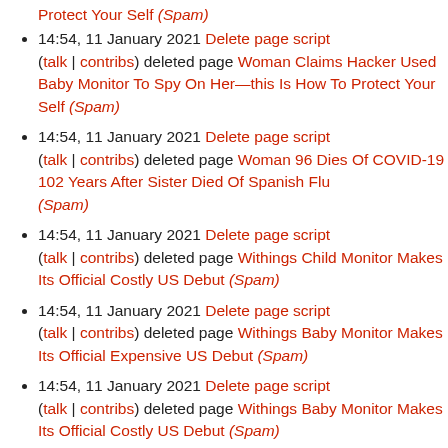Protect Your Self (Spam) [partial, top of page]
14:54, 11 January 2021 Delete page script (talk | contribs) deleted page Woman Claims Hacker Used Baby Monitor To Spy On Her—this Is How To Protect Your Self (Spam)
14:54, 11 January 2021 Delete page script (talk | contribs) deleted page Woman 96 Dies Of COVID-19 102 Years After Sister Died Of Spanish Flu (Spam)
14:54, 11 January 2021 Delete page script (talk | contribs) deleted page Withings Child Monitor Makes Its Official Costly US Debut (Spam)
14:54, 11 January 2021 Delete page script (talk | contribs) deleted page Withings Baby Monitor Makes Its Official Expensive US Debut (Spam)
14:54, 11 January 2021 Delete page script (talk | contribs) deleted page Withings Baby Monitor Makes Its Official Costly US Debut (Spam)
14:54, 11 January 2021 Delete page script (talk | contribs) deleted page With State Population Of Forty Million (Spam)